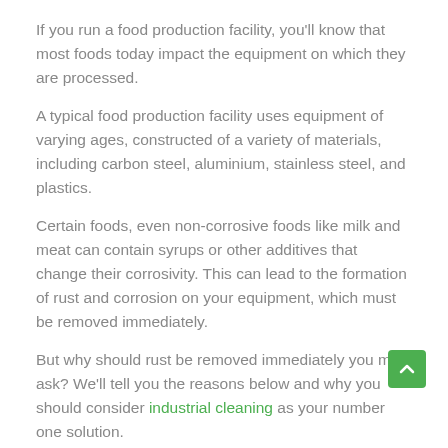If you run a food production facility, you'll know that most foods today impact the equipment on which they are processed.
A typical food production facility uses equipment of varying ages, constructed of a variety of materials, including carbon steel, aluminium, stainless steel, and plastics.
Certain foods, even non-corrosive foods like milk and meat can contain syrups or other additives that change their corrosivity. This can lead to the formation of rust and corrosion on your equipment, which must be removed immediately.
But why should rust be removed immediately you may ask? We'll tell you the reasons below and why you should consider industrial cleaning as your number one solution.
What causes rust and